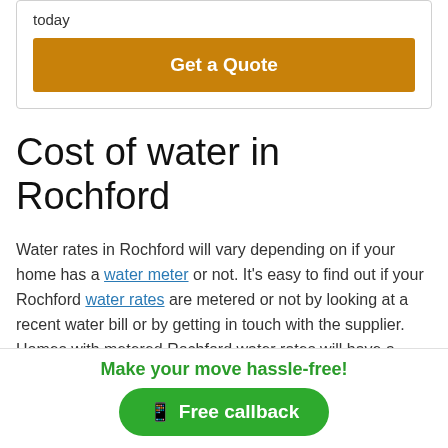today
Get a Quote
Cost of water in Rochford
Water rates in Rochford will vary depending on if your home has a water meter or not. It's easy to find out if your Rochford water rates are metered or not by looking at a recent water bill or by getting in touch with the supplier. Homes with metered Rochford water rates will have a
Make your move hassle-free!
Free callback